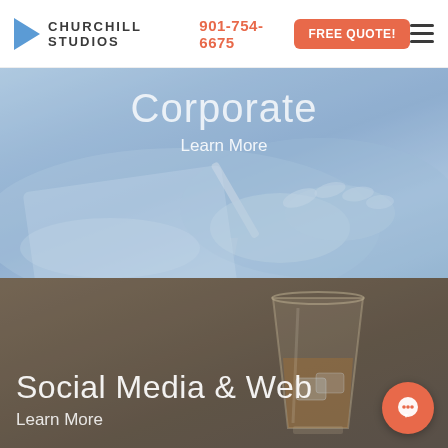Churchill Studios | 901-754-6675 | FREE QUOTE!
[Figure (screenshot): Corporate section with blueish overlay showing hands holding a pen over paper, with text 'Corporate' and 'Learn More']
[Figure (screenshot): Social Media & Web section with brownish overlay showing a whiskey glass, with text 'Social Media & Web' and 'Learn More']